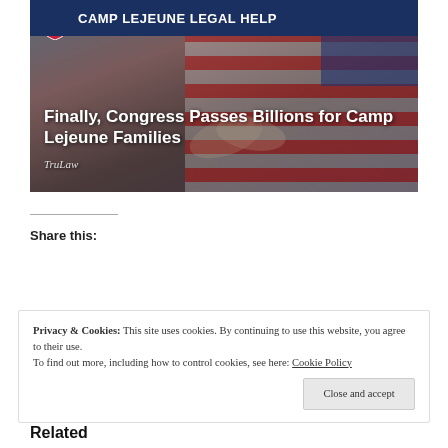[Figure (photo): Camp Lejeune Legal Help banner with dark blue header bar, military handshake photo with American flag background]
Finally, Congress Passes Billions for Camp Lejeune Families
TruLaw
Share this:
Share (button)
Privacy & Cookies: This site uses cookies. By continuing to use this website, you agree to their use. To find out more, including how to control cookies, see here: Cookie Policy
Close and accept
Related